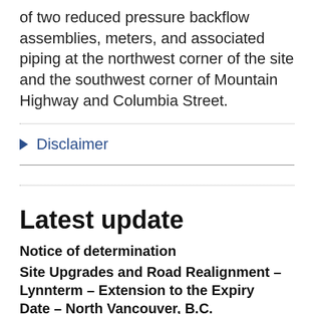of two reduced pressure backflow assemblies, meters, and associated piping at the northwest corner of the site and the southwest corner of Mountain Highway and Columbia Street.
▶ Disclaimer
Latest update
Notice of determination
Site Upgrades and Road Realignment – Lynnterm – Extension to the Expiry Date – North Vancouver, B.C.